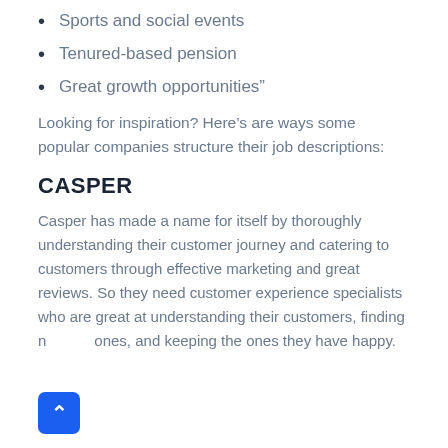Sports and social events
Tenured-based pension
Great growth opportunities”
Looking for inspiration? Here’s are ways some popular companies structure their job descriptions:
CASPER
Casper has made a name for itself by thoroughly understanding their customer journey and catering to customers through effective marketing and great reviews. So they need customer experience specialists who are great at understanding their customers, finding new ones, and keeping the ones they have happy.